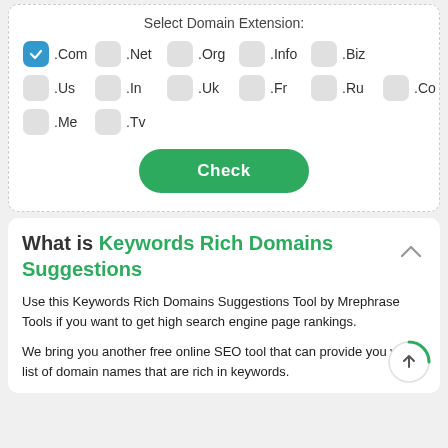Select Domain Extension:
.Com (checked), .Net, .Org, .Info, .Biz
.Us, .In, .Uk, .Fr, .Ru, .Co
.Me, .Tv
Check
What is Keywords Rich Domains Suggestions
Use this Keywords Rich Domains Suggestions Tool by Mrephrase Tools if you want to get high search engine page rankings.
We bring you another free online SEO tool that can provide you with a list of domain names that are rich in keywords.